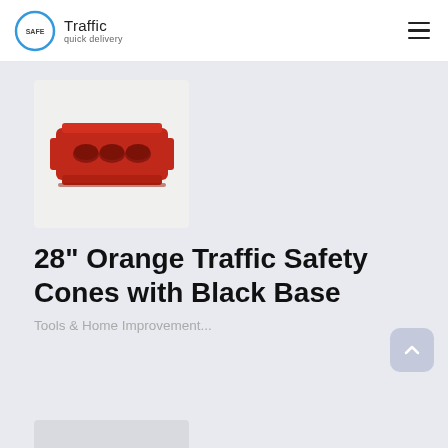Safe Traffic quick delivery
[Figure (photo): Red plastic traffic safety barrier with three oval holes, shown on light gray background]
28" Orange Traffic Safety Cones with Black Base
Tools & Home Improvement...